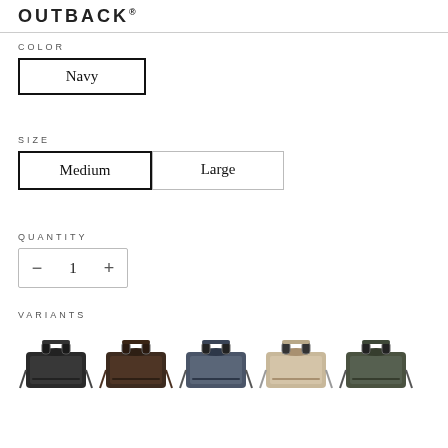OUTBACK
COLOR
Navy
SIZE
Medium  Large
QUANTITY
— 1 +
VARIANTS
[Figure (photo): Five bag variants shown side by side: black, dark brown, navy/slate, tan/beige, and olive/dark green briefcase-style bags]